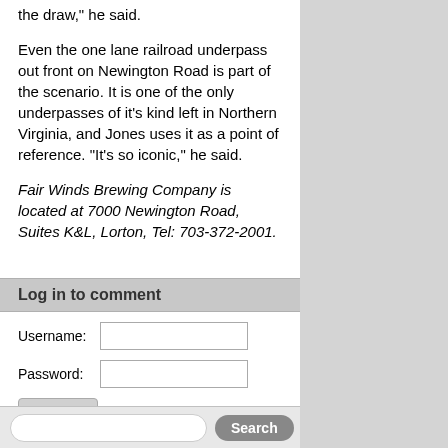the draw,” he said.
Even the one lane railroad underpass out front on Newington Road is part of the scenario. It is one of the only underpasses of it’s kind left in Northern Virginia, and Jones uses it as a point of reference. “It’s so iconic,” he said.
Fair Winds Brewing Company is located at 7000 Newington Road, Suites K&L, Lorton, Tel: 703-372-2001.
Log in to comment
Username: [input] Password: [input] Log in  Forgotten your password?